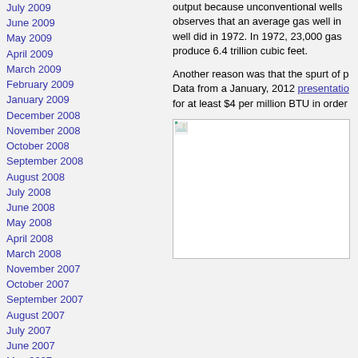July 2009
June 2009
May 2009
April 2009
March 2009
February 2009
January 2009
December 2008
November 2008
October 2008
September 2008
August 2008
July 2008
June 2008
May 2008
April 2008
March 2008
November 2007
October 2007
September 2007
August 2007
July 2007
June 2007
May 2007
April 2007
March 2007
February 2007
January 2007
December 2006
November 2006
output because unconventional wells observes that an average gas well in well did in 1972. In 1972, 23,000 gas produce 6.4 trillion cubic feet.
Another reason was that the spurt of p Data from a January, 2012 presentation for at least $4 per million BTU in order
[Figure (photo): Broken/missing image placeholder with small icon in top-left corner]